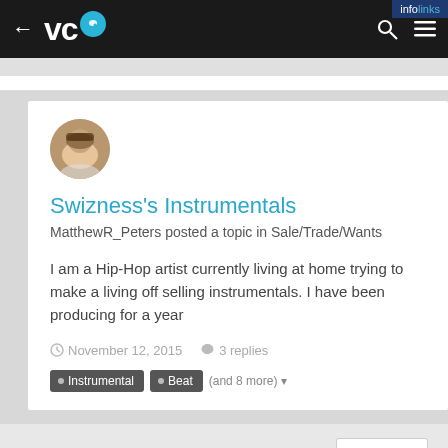VC [logo] — infolinks
Swizness's Instrumentals
MatthewR_Peters posted a topic in Sale/Trade/Wants
I am a Hip-Hop artist currently living at home trying to make a living off selling instrumentals. I have been producing for a year
November 12, 2015   3 replies
Instrumental  Beat  (and 8 more)
« PREV   Page 1 of 3   NEXT »